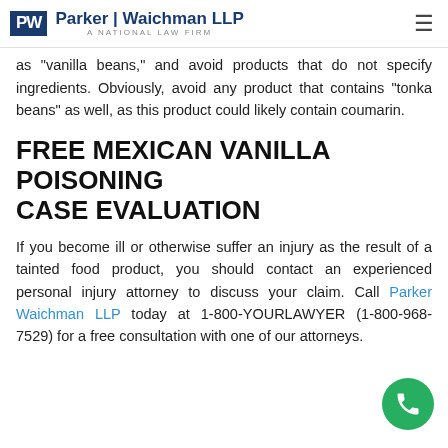Parker | Waichman LLP — A National Law Firm
as "vanilla beans," and avoid products that do not specify ingredients. Obviously, avoid any product that contains "tonka beans" as well, as this product could likely contain coumarin.
FREE MEXICAN VANILLA POISONING CASE EVALUATION
If you become ill or otherwise suffer an injury as the result of a tainted food product, you should contact an experienced personal injury attorney to discuss your claim. Call Parker Waichman LLP today at 1-800-YOURLAWYER (1-800-968-7529) for a free consultation with one of our attorneys.